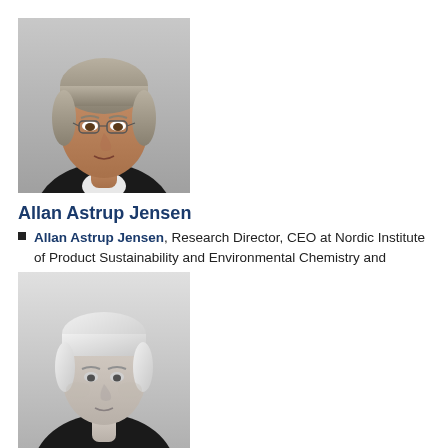[Figure (photo): Color photograph of Allan Astrup Jensen, a middle-aged man with grey hair and glasses, wearing a dark jacket, against a light grey background.]
Allan Astrup Jensen
Allan Astrup Jensen, Research Director, CEO at Nordic Institute of Product Sustainability and Environmental Chemistry and Toxicology
[Figure (photo): Black and white photograph of a person with short light hair, facing the camera, wearing a dark top.]